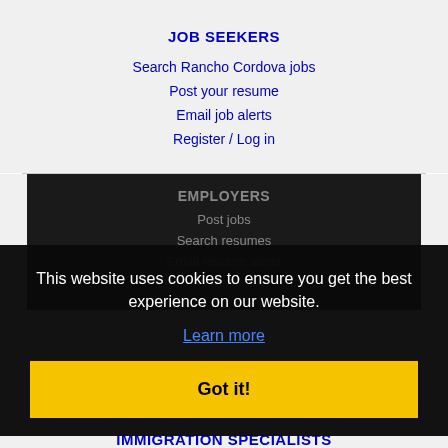JOB SEEKERS
Search Rancho Cordova jobs
Post your resume
Email job alerts
Register / Log in
EMPLOYERS
Post jobs
Search resumes
Email resume alerts
Advertise
This website uses cookies to ensure you get the best experience on our website.
Learn more
Got it!
IMMIGRATION SPECIALISTS